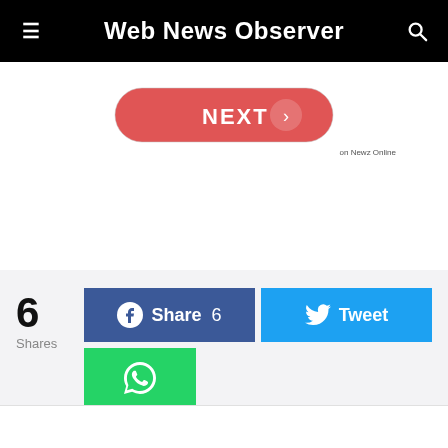Web News Observer
[Figure (screenshot): NEXT button with red background and right arrow, with 'on Newz Online' label]
6 Shares
[Figure (infographic): Social share buttons: Facebook Share 6, Tweet, WhatsApp]